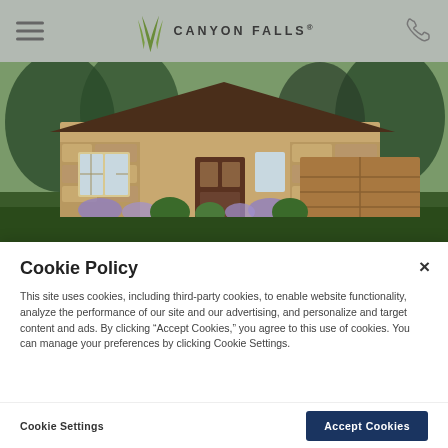Canyon Falls® — navigation header with hamburger menu, logo, and phone icon
[Figure (photo): Exterior rendering of a single-story stone and brick home with brown roof, manicured landscaping, purple flowers, trees, and a two-car garage]
Cookie Policy
This site uses cookies, including third-party cookies, to enable website functionality, analyze the performance of our site and our advertising, and personalize and target content and ads. By clicking "Accept Cookies," you agree to this use of cookies. You can manage your preferences by clicking Cookie Settings.
Cookie Settings   Accept Cookies